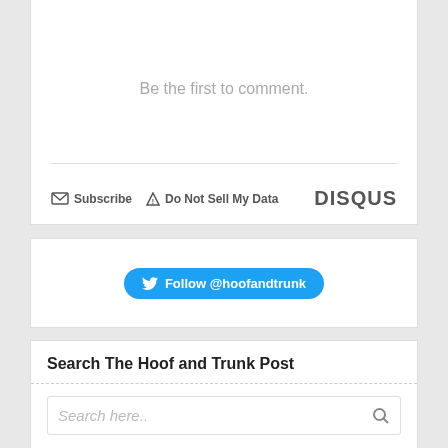Be the first to comment.
Subscribe  Do Not Sell My Data  DISQUS
[Figure (other): Twitter follow button for @hoofandtrunk]
Search The Hoof and Trunk Post
Search here..